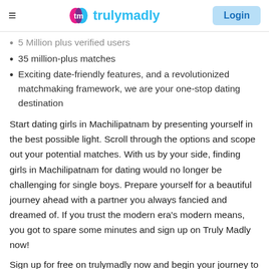trulymadly — Login
5 Million plus verified users
35 million-plus matches
Exciting date-friendly features, and a revolutionized matchmaking framework, we are your one-stop dating destination
Start dating girls in Machilipatnam by presenting yourself in the best possible light. Scroll through the options and scope out your potential matches. With us by your side, finding girls in Machilipatnam for dating would no longer be challenging for single boys. Prepare yourself for a beautiful journey ahead with a partner you always fancied and dreamed of. If you trust the modern era's modern means, you got to spare some minutes and sign up on Truly Madly now!
Sign up for free on trulymadly now and begin your journey to find